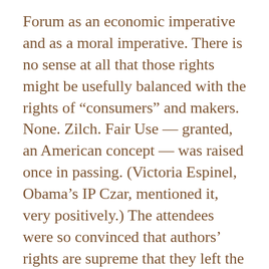Forum as an economic imperative and as a moral imperative. There is no sense at all that those rights might be usefully balanced with the rights of “consumers” and makers. None. Zilch. Fair Use — granted, an American concept — was raised once in passing. (Victoria Espinel, Obama’s IP Czar, mentioned it, very positively.) The attendees were so convinced that authors’ rights are supreme that they left the conference convinced that there is consensus on the topic. Indeed, the conference ended with a summary of the ministerial summit on culture that was held in parallel with the